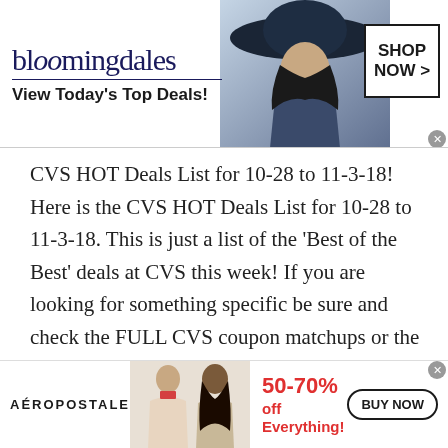[Figure (screenshot): Bloomingdale's advertisement banner with logo, tagline 'View Today's Top Deals!', fashion model photo, and 'SHOP NOW >' button]
CVS HOT Deals List for 10-28 to 11-3-18! Here is the CVS HOT Deals List for 10-28 to 11-3-18. This is just a list of the 'Best of the Best' deals at CVS this week! If you are looking for something specific be sure and check the FULL CVS coupon matchups or the CVS Weekly… Read more
[Figure (screenshot): Aéropostale advertisement banner with models, '50-70% off Everything!' offer in red, and 'BUY NOW' button]